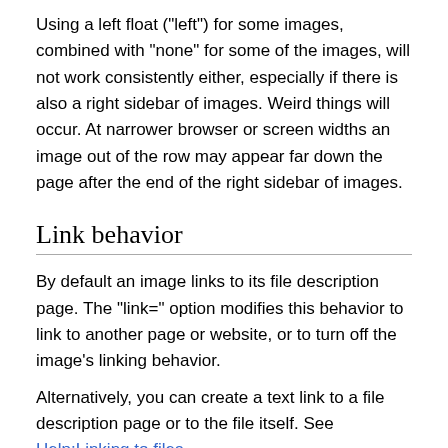Using a left float ("left") for some images, combined with "none" for some of the images, will not work consistently either, especially if there is also a right sidebar of images. Weird things will occur. At narrower browser or screen widths an image out of the row may appear far down the page after the end of the right sidebar of images.
Link behavior
By default an image links to its file description page. The "link=" option modifies this behavior to link to another page or website, or to turn off the image's linking behavior.
Alternatively, you can create a text link to a file description page or to the file itself. See Help:Linking to files.
Display image, link it to another page or